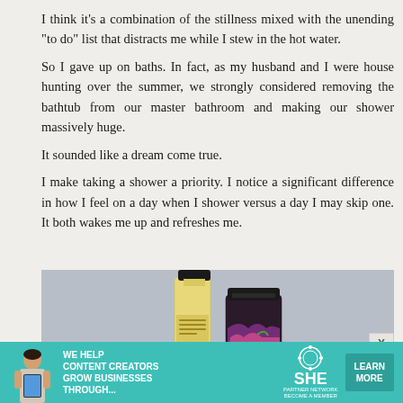I think it’s a combination of the stillness mixed with the unending “to do” list that distracts me while I stew in the hot water.
So I gave up on baths. In fact, as my husband and I were house hunting over the summer, we strongly considered removing the bathtub from our master bathroom and making our shower massively huge.
It sounded like a dream come true.
I make taking a shower a priority. I notice a significant difference in how I feel on a day when I shower versus a day I may skip one. It both wakes me up and refreshes me.
[Figure (photo): Two beauty/bath product bottles on a grey-blue background: a tall clear bottle with gold liquid and a shorter dark bottle with decorative label.]
[Figure (infographic): Advertisement banner for SHE Media Partner Network: teal background with woman holding tablet, text 'We help content creators grow businesses through...' with SHE logo and 'Learn More' button.]